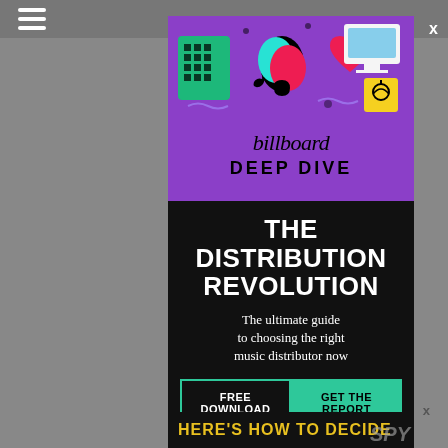[Figure (illustration): Billboard Deep Dive advertisement. Purple top section with TikTok and social media icons illustration. Text reads 'billboard DEEP DIVE'. Black lower section with white bold text 'THE DISTRIBUTION REVOLUTION', subtitle 'The ultimate guide to choosing the right music distributor now', and a teal/green call-to-action button row reading 'FREE DOWNLOAD | GET THE REPORT'. Bottom yellow text: 'HERE'S HOW TO DECIDE'.]
HERE'S HOW TO DECIDE